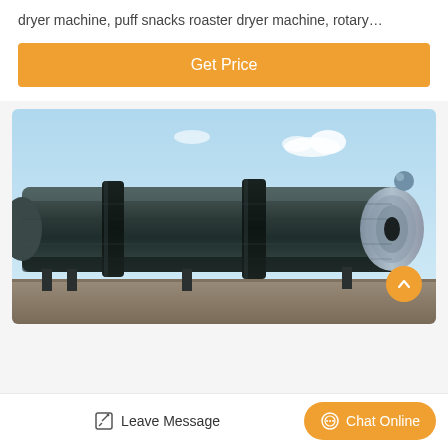dryer machine, puff snacks roaster dryer machine, rotary…
[Figure (other): Orange 'Get Price' button]
[Figure (photo): Large industrial rotary dryer machine photographed outdoors on a sunny day, showing a long cylindrical dark metal drum with multiple ring collars, mounted on support legs, with blue sky background.]
[Figure (other): Orange circular scroll-up arrow button overlaid on image]
Leave Message
Chat Online